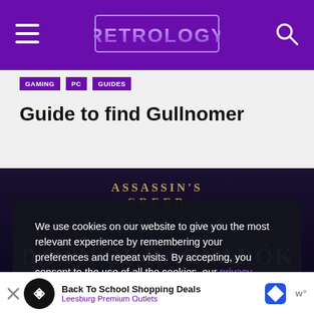RETROLOGY
GAMING
PC
GUIDES
Guide to find Gullnomer
[Figure (screenshot): Assassin's Creed Valhalla Dawn of Ragnarök logo on dark background]
We use cookies on our website to give you the most relevant experience by remembering your preferences and repeat visits. By accepting, you consent to the use of all the cookies. our privacy policy, disclosure, and terms.
Accept
Back To School Shopping Deals — Leesburg Premium Outlets